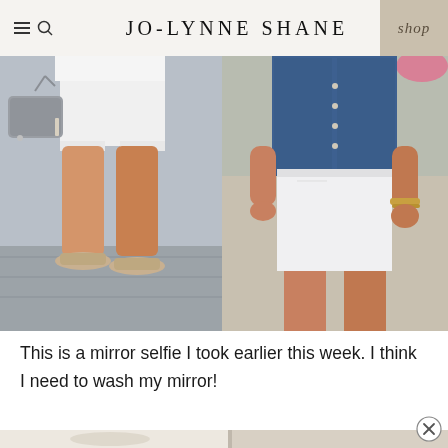JO-LYNNE SHANE
[Figure (photo): Two side-by-side fashion photos showing a woman wearing white shorts. Left photo shows legs with lace-up nude flats and a grey crossbody bag. Right photo shows a woman in a denim vest and white shorts with a gold bracelet.]
This is a mirror selfie I took earlier this week. I think I need to wash my mirror!
[Figure (photo): Partially visible mirror selfie photo at the bottom of the page, showing a person reflected in a mirror in a light-colored room.]